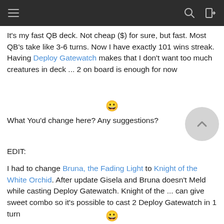Navigation bar with menu, search, and exit icons
It's my fast QB deck. Not cheap ($) for sure, but fast. Most QB's take like 3-6 turns. Now I have exactly 101 wins streak. Having Deploy Gatewatch makes that I don't want too much creatures in deck ... 2 on board is enough for now
What You'd change here? Any suggestions?
EDIT:
I had to change Bruna, the Fading Light to Knight of the White Orchid. After update Gisela and Bruna doesn't Meld while casting Deploy Gatewatch. Knight of the ... can give sweet combo so it's possible to cast 2 Deploy Gatewatch in 1 turn